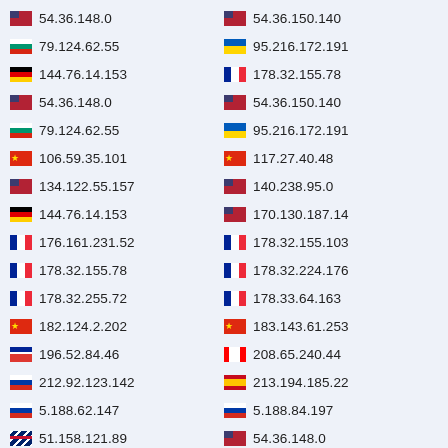54.36.148.0 | 54.36.150.140
79.124.62.55 | 95.216.172.191
144.76.14.153 | 178.32.155.78
54.36.148.0 | 54.36.150.140
79.124.62.55 | 95.216.172.191
106.59.35.101 | 117.27.40.48
134.122.55.157 | 140.238.95.0
144.76.14.153 | 170.130.187.14
176.161.231.52 | 178.32.155.103
178.32.155.78 | 178.32.224.176
178.32.255.72 | 178.33.64.163
182.124.2.202 | 183.143.61.253
196.52.84.46 | 208.65.240.44
212.92.123.142 | 213.194.185.22
5.188.62.147 | 5.188.84.197
51.158.121.89 | 54.36.148.0
54.36.150.140 | 62.4.14.198
69.75.91.250 | 79.124.62.55